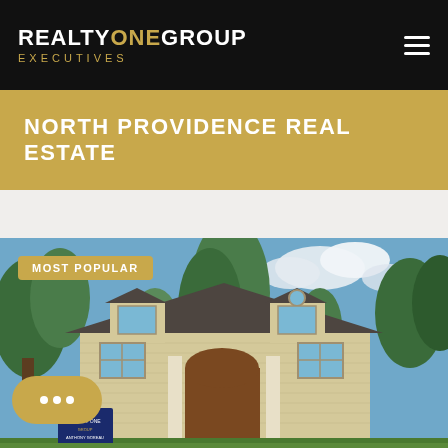[Figure (logo): Realty ONE Group Executives logo — white text 'REALTYONEGROUP' with 'ONE' in gold, below 'EXECUTIVES' in gold spaced lettering, on black background]
NORTH PROVIDENCE REAL ESTATE
[Figure (photo): Exterior photo of a large two-story residential home with beige/yellow siding, arched front entrance, multiple dormers, surrounded by tall green trees, blue sky with clouds. A real estate sign is visible in the foreground. 'MOST POPULAR' badge overlaid in top-left.]